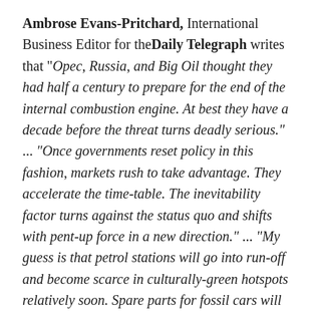Ambrose Evans-Pritchard, International Business Editor for the Daily Telegraph writes that "Opec, Russia, and Big Oil thought they had half a century to prepare for the end of the internal combustion engine. At best they have a decade before the threat turns deadly serious." ... "Once governments reset policy in this fashion, markets rush to take advantage. They accelerate the time-table. The inevitability factor turns against the status quo and shifts with pent-up force in a new direction." ... "My guess is that petrol stations will go into run-off and become scarce in culturally-green hotspots relatively soon. Spare parts for fossil cars will be less easy to find. As these supply risks seep into public consciousness, they will set EVs will to win even more share...